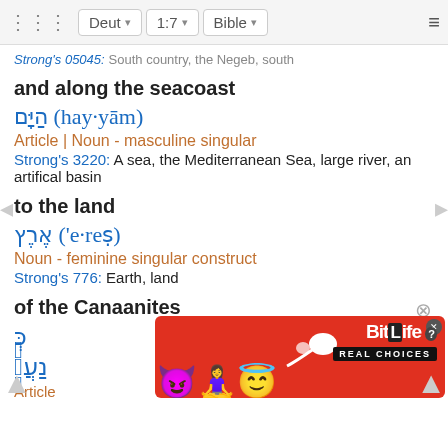Deut  1:7  Bible
Strong's 05045: South country, the Negeb, south
and along the seacoast
הַיָּם (hay·yām)
Article | Noun - masculine singular
Strong's 3220: A sea, the Mediterranean Sea, large river, an artifical basin
to the land
אֶרֶץ ('e·reṣ)
Noun - feminine singular construct
Strong's 776: Earth, land
of the Canaanites
כְּנַעֲנִ
Article
[Figure (other): BitLife REAL CHOICES advertisement banner with emoji characters on red background]